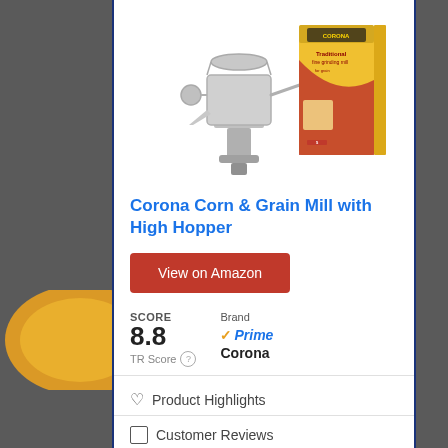[Figure (photo): Corona Corn & Grain Mill hand grinder product photo alongside its yellow product box with red branding]
Corona Corn & Grain Mill with High Hopper
View on Amazon
SCORE 8.8 TR Score  Brand ✓Prime Corona
Product Highlights
Customer Reviews